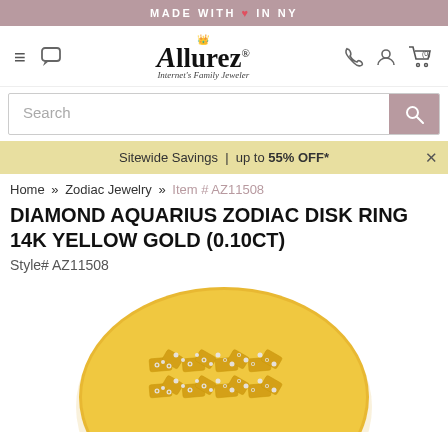MADE WITH ♥ IN NY
[Figure (logo): Allurez logo with crown, tagline: Internet's Family Jeweler, navigation icons including hamburger menu, chat, phone, user, and cart (0)]
Search
Sitewide Savings | up to 55% OFF*
Home » Zodiac Jewelry » Item # AZ11508
DIAMOND AQUARIUS ZODIAC DISK RING 14K YELLOW GOLD (0.10CT)
Style# AZ11508
[Figure (photo): Close-up photo of a gold disk ring featuring the Aquarius zodiac symbol made of diamonds set in 14k yellow gold]